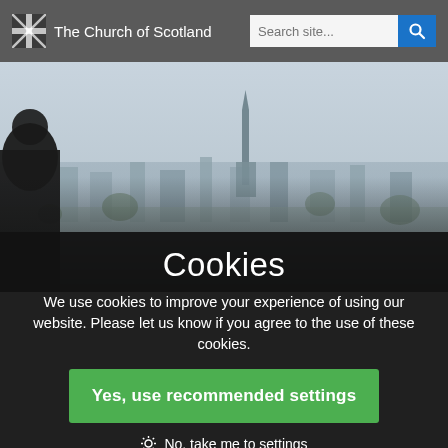The Church of Scotland
[Figure (photo): Aerial/landscape photo of a city skyline with a church spire, a person in dark clothing visible in the lower left foreground]
Cookies
We use cookies to improve your experience of using our website. Please let us know if you agree to the use of these cookies.
Yes, use recommended settings
No, take me to settings